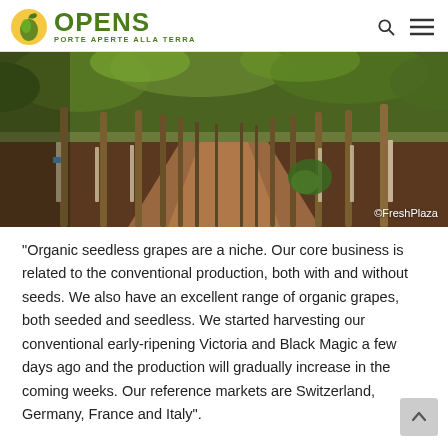OPENS — PORTE APERTE ALLA TERRA
[Figure (photo): Vineyard rows with young trees on earthy brown soil under a leafy green canopy. Photo credit: ©FreshPlaza]
"Organic seedless grapes are a niche. Our core business is related to the conventional production, both with and without seeds. We also have an excellent range of organic grapes, both seeded and seedless. We started harvesting our conventional early-ripening Victoria and Black Magic a few days ago and the production will gradually increase in the coming weeks. Our reference markets are Switzerland, Germany, France and Italy".